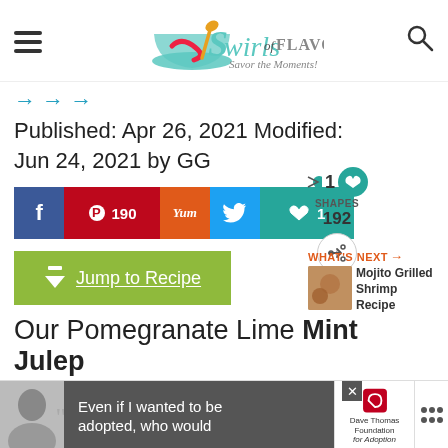Swirls of Flavor - Savor the Moments!
Published: Apr 26, 2021 Modified: Jun 24, 2021 by GG
[Figure (infographic): Social sharing buttons: Facebook, Pinterest (190), Yummly, Twitter, Like (1), share count 192]
[Figure (infographic): Jump to Recipe green button with down arrow]
WHAT'S NEXT → Mojito Grilled Shrimp Recipe
Our Pomegranate Lime Mint Julep
[Figure (infographic): Advertisement banner: Even if I wanted to be adopted, who would - Dave Thomas Foundation for Adoption]